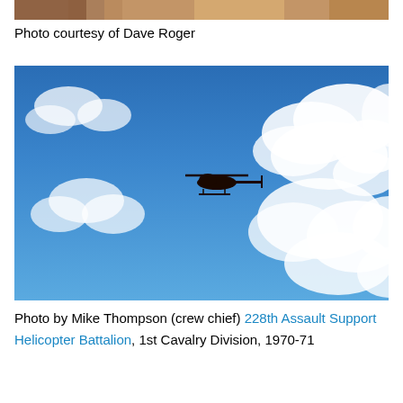[Figure (photo): Partial top photo, cropped — sandy/earth tones, appears to be a cropped bottom portion of a previous image]
Photo courtesy of Dave Roger
[Figure (photo): A helicopter (silhouette) flying against a blue sky with white clouds, photograph taken from below looking up]
Photo by Mike Thompson (crew chief) 228th Assault Support Helicopter Battalion, 1st Cavalry Division, 1970-71